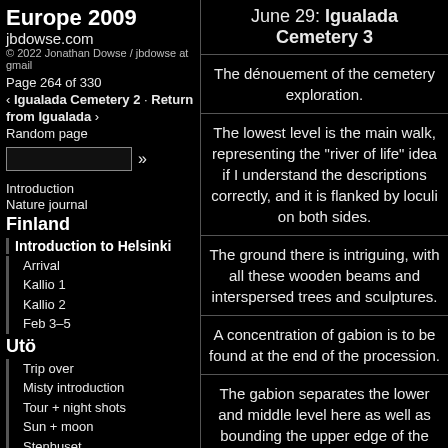Europe 2009
jbdowse.com
© 2022 Jonathan Dowse / jbdowse at gmail
Page 264 of 330
‹ Igualada Cemetery 2 · Return from Igualada ›
Random page
Introduction
Nature journal
Finland
Introduction to Helsinki
Arrival
Kallio 1
Kallio 2
Feb 3–5
Utö
Trip over
Misty introduction
Tour + night shots
Sun + moon
Stenhuset
Sunsnow
Site + lighthouse
Cold day
< hide menu /
June 29: Igualada Cemetery 3
The dénouement of the cemetery exploration.
The lowest level is the main walk, representing the "river of life" idea if I understand the descriptions correctly, and it is flanked by loculi on both sides.
The ground there is intriguing, with all these wooden beams and interspersed trees and sculptures.
A concentration of gabion is to be found at the end of the procession.
The gabion separates the lower and middle level here as well as bounding the upper edge of the